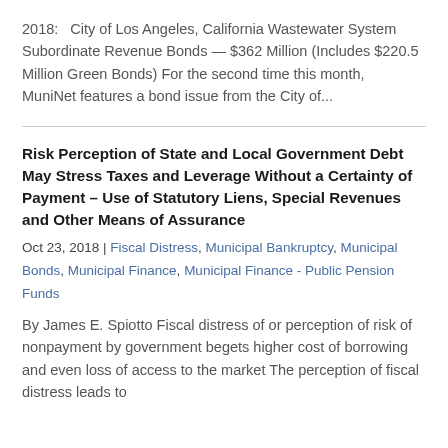2018:   City of Los Angeles, California Wastewater System Subordinate Revenue Bonds — $362 Million (Includes $220.5 Million Green Bonds) For the second time this month,  MuniNet features a bond issue from the City of...
Risk Perception of State and Local Government Debt May Stress Taxes and Leverage Without a Certainty of Payment – Use of Statutory Liens, Special Revenues and Other Means of Assurance
Oct 23, 2018 | Fiscal Distress, Municipal Bankruptcy, Municipal Bonds, Municipal Finance, Municipal Finance - Public Pension Funds
By James E. Spiotto Fiscal distress of or perception of risk of nonpayment by government begets higher cost of borrowing and even loss of access to the market The perception of fiscal distress leads to